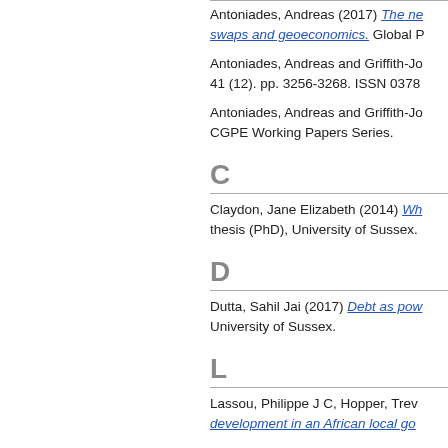Antoniades, Andreas (2017) The ne… swaps and geoeconomics. Global P
Antoniades, Andreas and Griffith-Jo… 41 (12). pp. 3256-3268. ISSN 0378
Antoniades, Andreas and Griffith-Jo… CGPE Working Papers Series.
C
Claydon, Jane Elizabeth (2014) Wh… thesis (PhD), University of Sussex.
D
Dutta, Sahil Jai (2017) Debt as pow… University of Sussex.
L
Lassou, Philippe J C, Hopper, Trev… development in an African local go…